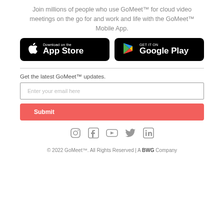Join millions of people who use GoMeet™ for cloud video meetings on the go for and work and life with the GoMeet™ Mobile App.
[Figure (illustration): App Store and Google Play download buttons on black rounded rectangles]
Get the latest GoMeet™ updates.
Enter your email here (input placeholder)
Submit (button)
[Figure (infographic): Social media icons: Instagram, Facebook, YouTube, Twitter, LinkedIn in gray]
© 2022 GoMeet™. All Rights Reserved | A BWG Company